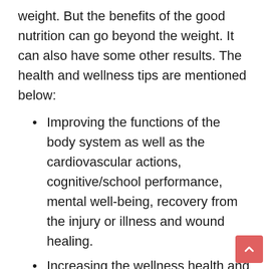weight. But the benefits of the good nutrition can go beyond the weight. It can also have some other results. The health and wellness tips are mentioned below:
Improving the functions of the body system as well as the cardiovascular actions, cognitive/school performance, mental well-being, recovery from the injury or illness and wound healing.
Increasing the wellness health and fitness ability of the body to fight off the illness and to increase the energy.
Reducing the risk for the diseases including diabetes, heart disease, strok...